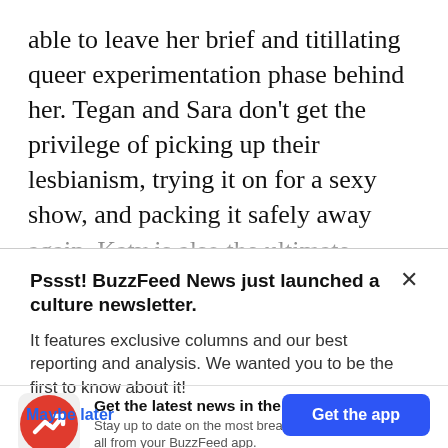able to leave her brief and titillating queer experimentation phase behind her. Tegan and Sara don't get the privilege of picking up their lesbianism, trying it on for a sexy show, and packing it safely away again. Katy is also the ultimate
Pssst! BuzzFeed News just launched a culture newsletter.
It features exclusive columns and our best reporting and analysis. We wanted you to be the first to know about it!
[Figure (logo): BuzzFeed red circle logo with white trending arrow]
Get the latest news in the app! Stay up to date on the most breaking news, all from your BuzzFeed app.
Maybe later
Get the app